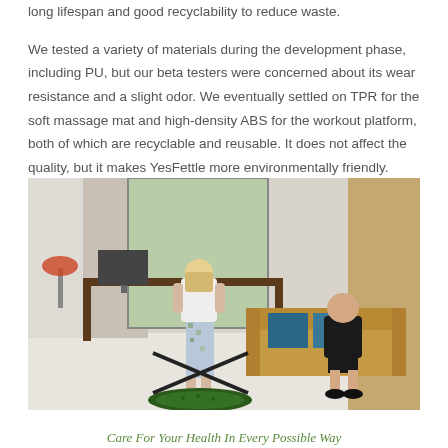long lifespan and good recyclability to reduce waste.

We tested a variety of materials during the development phase, including PU, but our beta testers were concerned about its wear resistance and a slight odor. We eventually settled on TPR for the soft massage mat and high-density ABS for the workout platform, both of which are recyclable and reusable. It does not affect the quality, but it makes YesFettle more environmentally friendly.
[Figure (photo): Indoor scene showing a woman standing on a green massage mat/workout platform while a man in a black t-shirt sits on a yellow-tan sofa watching her. The room has a desk, lamp, computer monitor, and shelving in the background.]
Care For Your Health In Every Possible Way